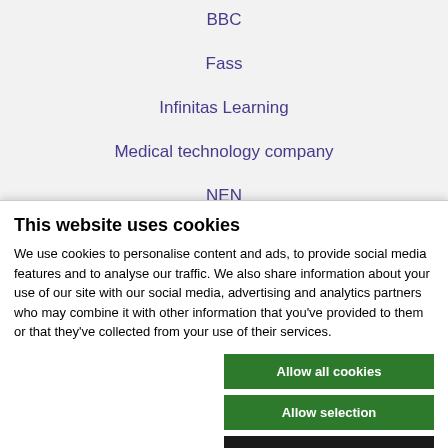BBC
Fass
Infinitas Learning
Medical technology company
NEN
Online standards development
This website uses cookies
We use cookies to personalise content and ads, to provide social media features and to analyse our traffic. We also share information about your use of our site with our social media, advertising and analytics partners who may combine it with other information that you've provided to them or that they've collected from your use of their services.
Allow all cookies
Allow selection
Use necessary cookies only
Necessary  Preferences  Statistics  Marketing  Show details